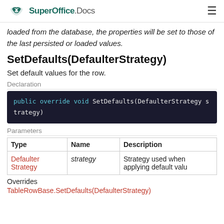SuperOffice.Docs
loaded from the database, the properties will be set to those of the last persisted or loaded values.
SetDefaults(DefaulterStrategy)
Set default values for the row.
Declaration
Parameters
| Type | Name | Description |
| --- | --- | --- |
| DefaulterStrategy | strategy | Strategy used when applying default valu |
Overrides
TableRowBase.SetDefaults(DefaulterStrategy)